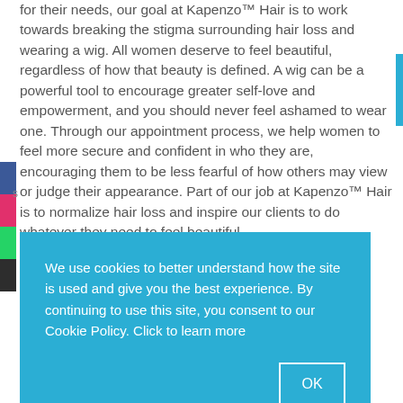for their needs, our goal at Kapenzo™ Hair is to work towards breaking the stigma surrounding hair loss and wearing a wig. All women deserve to feel beautiful, regardless of how that beauty is defined. A wig can be a powerful tool to encourage greater self-love and empowerment, and you should never feel ashamed to wear one. Through our appointment process, we help women to feel more secure and confident in who they are, encouraging them to be less fearful of how others may view or judge their appearance. Part of our job at Kapenzo™ Hair is to normalize hair loss and inspire our clients to do whatever they need to feel beautiful.
We use cookies to better understand how the site is used and give you the best experience. By continuing to use this site, you consent to our Cookie Policy. Click to learn more